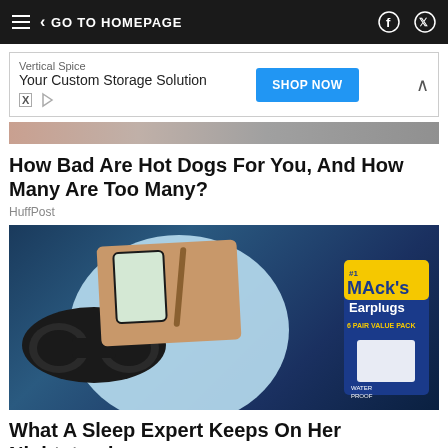GO TO HOMEPAGE
[Figure (photo): Advertisement banner: Vertical Spice - Your Custom Storage Solution with SHOP NOW button]
[Figure (photo): Partial top of an article image showing skin tones and gray colors]
How Bad Are Hot Dogs For You, And How Many Are Too Many?
HuffPost
[Figure (photo): Article thumbnail showing sleep items: black 3D sleep mask, a planner/organizer with phone and pen, and Mack's Earplugs 6 Pair Value Pack package, on a water/blue background]
What A Sleep Expert Keeps On Her Nightstand
HuffPost